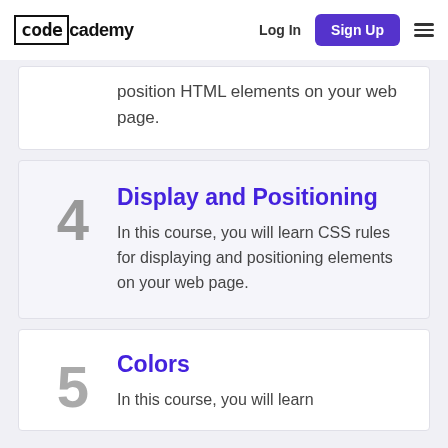code academy | Log In | Sign Up
position HTML elements on your web page.
Display and Positioning
In this course, you will learn CSS rules for displaying and positioning elements on your web page.
Colors
In this course, you will learn